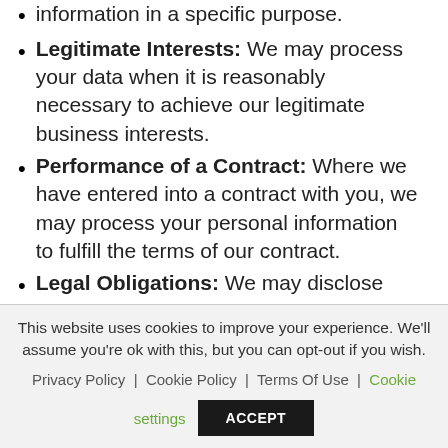information in a specific purpose.
Legitimate Interests: We may process your data when it is reasonably necessary to achieve our legitimate business interests.
Performance of a Contract: Where we have entered into a contract with you, we may process your personal information to fulfill the terms of our contract.
Legal Obligations: We may disclose your information where we are legally required to do so in order to comply with applicable law, governmental requests, a judicial proceeding, court order, or legal
This website uses cookies to improve your experience. We'll assume you're ok with this, but you can opt-out if you wish.
Privacy Policy | Cookie Policy | Terms Of Use | Cookie settings
ACCEPT